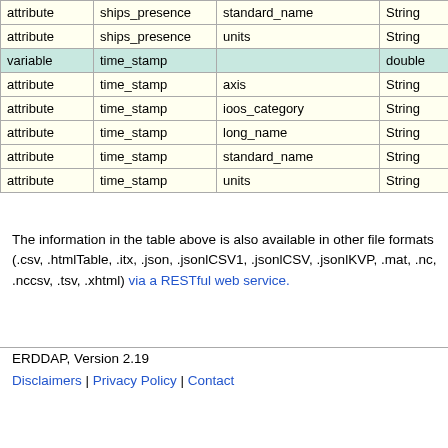|  |  |  |  |  |
| --- | --- | --- | --- | --- |
| attribute | ships_presence | standard_name | String | ships_ |
| attribute | ships_presence | units | String | boole |
| variable | time_stamp |  | double | time |
| attribute | time_stamp | axis | String | T |
| attribute | time_stamp | ioos_category | String | Time |
| attribute | time_stamp | long_name | String | Times |
| attribute | time_stamp | standard_name | String | time |
| attribute | time_stamp | units | String | ms |
The information in the table above is also available in other file formats (.csv, .htmlTable, .itx, .json, .jsonlCSV1, .jsonlCSV, .jsonlKVP, .mat, .nc, .nccsv, .tsv, .xhtml) via a RESTful web service.
ERDDAP, Version 2.19
Disclaimers | Privacy Policy | Contact